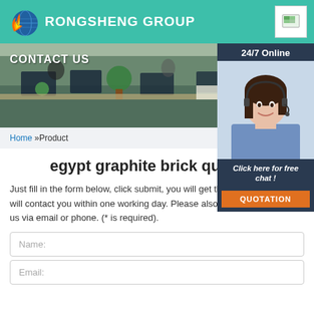[Figure (logo): Rongsheng Group logo with flame and globe icon, teal header background, brand name RONGSHENG GROUP]
[Figure (photo): Office photo with employees at desks, plants, computers. CONTACT US overlay text. 24/7 Online chat widget on the right with a woman wearing a headset, Click here for free chat! and QUOTATION button.]
Home »Product
egypt graphite brick quality s
Just fill in the form below, click submit, you will get the price list, and we will contact you within one working day. Please also feel free to contact us via email or phone. (* is required).
Name:
Email: